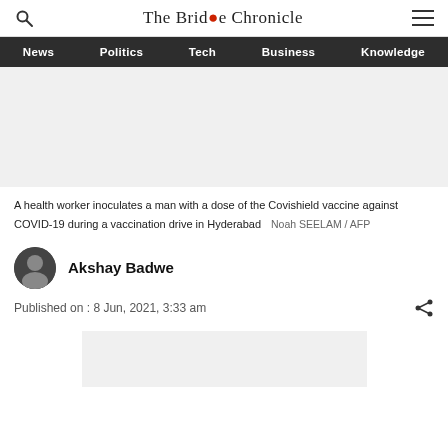The Bridge Chronicle
News | Politics | Tech | Business | Knowledge
[Figure (photo): Placeholder area for a photo of a health worker inoculating a man with Covishield vaccine]
A health worker inoculates a man with a dose of the Covishield vaccine against COVID-19 during a vaccination drive in Hyderabad    Noah SEELAM / AFP
Akshay Badwe
Published on : 8 Jun, 2021, 3:33 am
[Figure (other): Advertisement placeholder (gray box)]